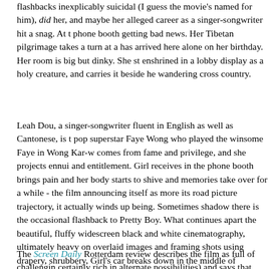flashbacks inexplicably suicidal (I guess the movie's named for him), did her, and maybe her alleged career as a singer-songwriter hit a snag. At t phone booth getting bad news. Her Tibetan pilgrimage takes a turn at a has arrived here alone on her birthday. Her room is big but dinky. She st enshrined in a lobby display as a holy creature, and carries it beside he wandering cross country.
Leah Dou, a singer-songwriter fluent in English as well as Cantonese, is t pop superstar Faye Wong who played the winsome Faye in Wong Kar-w comes from fame and privilege, and she projects ennui and entitlement. Girl receives in the phone booth brings pain and her body starts to shive and memories take over for a while - the film announcing itself as more its road picture trajectory, it actually winds up being. Sometimes shadow there is the occasional flashback to Pretty Boy. What continues apart the beautiful, fluffy widescreen black and white cinematography, ultimately heavy on overlaid images and framing shots using drapery, shrubbery, Girl's car breaks down in the middle of nowhere - the adventure begins continuing in a very local pickup truck with lots of folkloric decoration an where she is going. At a temple or school she is commended for saying t says, but they usually can't admit it. Use is made of Tibetan holy places a fact old Tibetan men (and a boy monk) ready with a chuckle and a word flamboyant wig salesman played by a real local celebrity, the Tibetan/Bh writer Khyentse Norbu. Girl's English comes in handy when an American feast. A young woman who says she's pregnant hitches a ride. They rele including an elephant.
The Screen Daily Rotterdam review describes the film as full of challengin certainly rich in alternate possibilities) and says that "Audiences game e